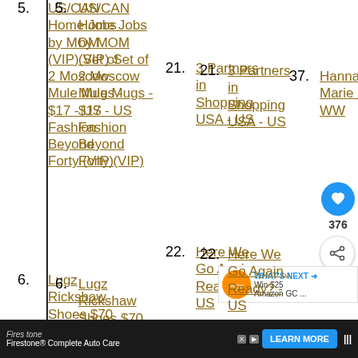5. US/CAN Home Jobs by MOM (VIP) Set of 2 Moscow Mule Mugs - $17 - US Fashion Beyond Forty (VIP)
21. 3 Partners in Shopping USA - US
37. Hanna Marie Lei - WW
6. Lugz Rickshaw Shoes $70...
22. Here We Go Again.. Ready? - US
38. OMG US
376
WHAT'S NEXT → Win $25 Amazon GC ...
Firestone
Firestone® Complete Auto Care